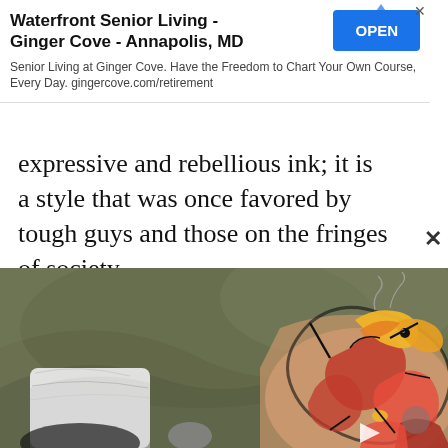[Figure (screenshot): Advertisement banner for Waterfront Senior Living - Ginger Cove - Annapolis, MD with blue OPEN button. Tagline: Senior Living at Ginger Cove. Have the Freedom to Chart Your Own Course, Every Day. gingercove.com/retirement]
expressive and rebellious ink; it is a style that was once favored by tough guys and those on the fringes of society.
[Figure (photo): Close-up photo of a colorful tattoo on a person's hand/arm showing a dragon or mythical creature design with red, orange, yellow, and black colors on olive-colored fabric background. A white cloth/tissue is visible on the left side.]